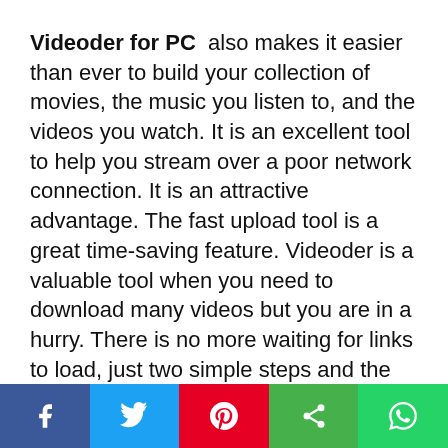Videoder for PC also makes it easier than ever to build your collection of movies, the music you listen to, and the videos you watch. It is an excellent tool to help you stream over a poor network connection. It is an attractive advantage. The fast upload tool is a great time-saving feature. Videoder is a valuable tool when you need to download many videos but you are in a hurry. There is no more waiting for links to load, just two simple steps and the download is complete.

Also, night mode will make it easier to use the app at night. We especially recommend this mode on AMOLED screens. In the
Facebook | Twitter | Pinterest | Share | WhatsApp